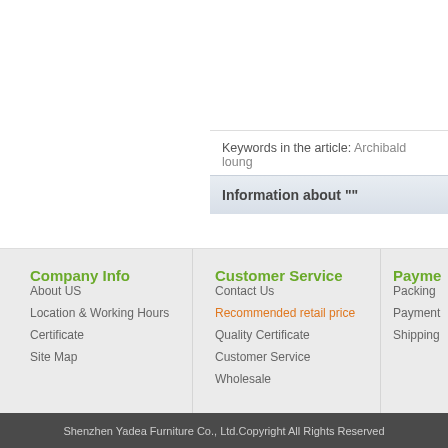Keywords in the article: Archibald lounge
Information about ""
Company Info
About US
Location & Working Hours
Certificate
Site Map
Customer Service
Contact Us
Recommended retail price
Quality Certificate
Customer Service
Wholesale
Payme
Packing
Payment
Shipping
Shenzhen Yadea Furniture Co., Ltd.Copyright All Rights Reserved